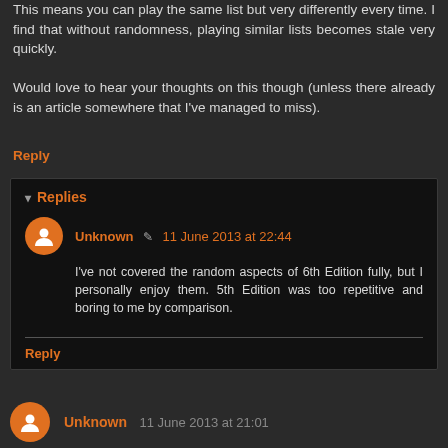This means you can play the same list but very differently every time. I find that without randomness, playing similar lists becomes stale very quickly.

Would love to hear your thoughts on this though (unless there already is an article somewhere that I've managed to miss).
Reply
▾ Replies
Unknown ✎ 11 June 2013 at 22:44
I've not covered the random aspects of 6th Edition fully, but I personally enjoy them. 5th Edition was too repetitive and boring to me by comparison.
Reply
Unknown 11 June 2013 at 21:01